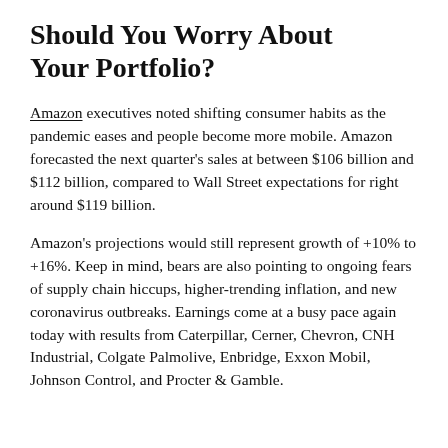Should You Worry About Your Portfolio?
Amazon executives noted shifting consumer habits as the pandemic eases and people become more mobile. Amazon forecasted the next quarter's sales at between $106 billion and $112 billion, compared to Wall Street expectations for right around $119 billion.
Amazon's projections would still represent growth of +10% to +16%. Keep in mind, bears are also pointing to ongoing fears of supply chain hiccups, higher-trending inflation, and new coronavirus outbreaks. Earnings come at a busy pace again today with results from Caterpillar, Cerner, Chevron, CNH Industrial, Colgate Palmolive, Enbridge, Exxon Mobil, Johnson Control, and Procter & Gamble.